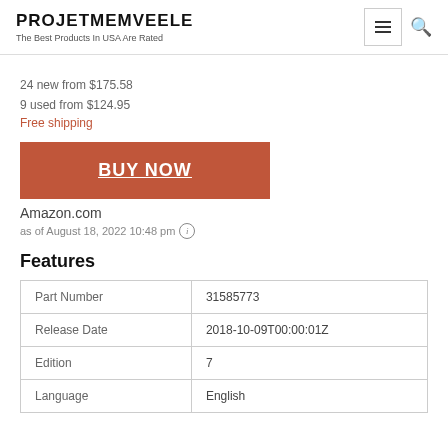PROJETMEMVEELE
The Best Products In USA Are Rated
24 new from $175.58
9 used from $124.95
Free shipping
[Figure (other): Red BUY NOW button]
Amazon.com
as of August 18, 2022 10:48 pm
Features
| Part Number | 31585773 |
| Release Date | 2018-10-09T00:00:01Z |
| Edition | 7 |
| Language | English |